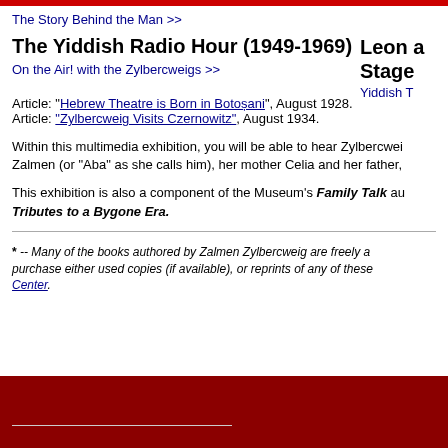The Story Behind the Man >>
The Yiddish Radio Hour (1949-1969)
On the Air! with the Zylbercweigs >>
Leon a... Stage
Yiddish T...
Article: "Hebrew Theatre is Born in Botoșani", August 1928.
Article: "Zylbercweig Visits Czernowitz", August 1934.
Within this multimedia exhibition, you will be able to hear Zylbercwei... Zalmen (or "Aba" as she calls him), her mother Celia and her father,...
This exhibition is also a component of the Museum's Family Talk au... Tributes to a Bygone Era.
* -- Many of the books authored by Zalmen Zylbercweig are freely a... purchase either used copies (if available), or reprints of any of these... Center.